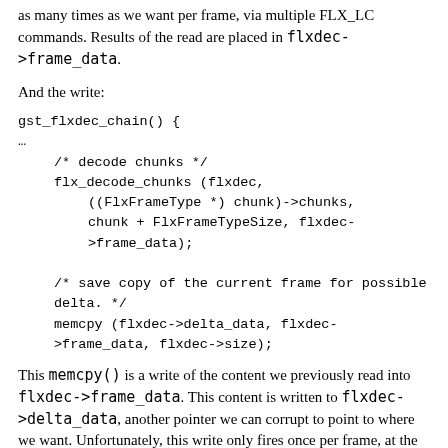as many times as we want per frame, via multiple FLX_LC commands. Results of the read are placed in flxdec->frame_data.
And the write:
gst_flxdec_chain() {
...
    /* decode chunks */
    flx_decode_chunks (flxdec,
        ((FlxFrameType *) chunk)->chunks,
        chunk + FlxFrameTypeSize, flxdec->frame_data);

    /* save copy of the current frame for possible delta. */
    memcpy (flxdec->delta_data, flxdec->frame_data, flxdec->size);
This memcpy() is a write of the content we previously read into flxdec->frame_data. This content is written to flxdec->delta_data, another pointer we can corrupt to point to where we want. Unfortunately, this write only fires once per frame, at the end, and as we covered earlier, we have a frame budget of 2! Together, this